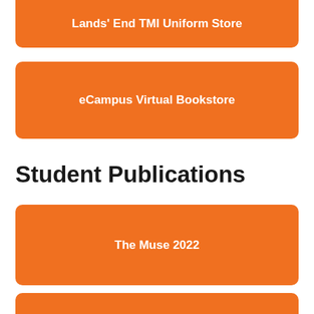Lands' End TMI Uniform Store
eCampus Virtual Bookstore
Student Publications
The Muse 2022
TMI Times